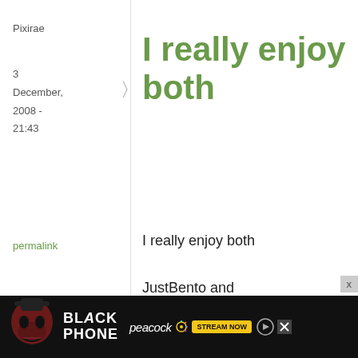Pixirae
3
December,
2008 -
21:43
permalink
I really enjoy both
I really enjoy both JustBento and JustHungry. :-)

Denver, Colorado, United States
Amy B
3
Growing up,
[Figure (infographic): Advertisement banner for 'The Black Phone' on Peacock - Stream Now]